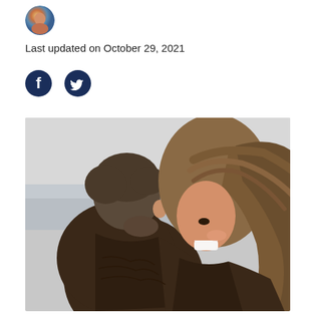[Figure (photo): Small circular avatar photo of a person with colorful background, top left corner]
Last updated on October 29, 2021
[Figure (other): Facebook and Twitter social media icon buttons (dark navy circular icons)]
[Figure (photo): A couple outdoors near the sea, man kissing woman on the cheek/hair, woman smiling with long hair blowing in wind, both wearing dark brown/black fuzzy sweater, black and white seascape background]